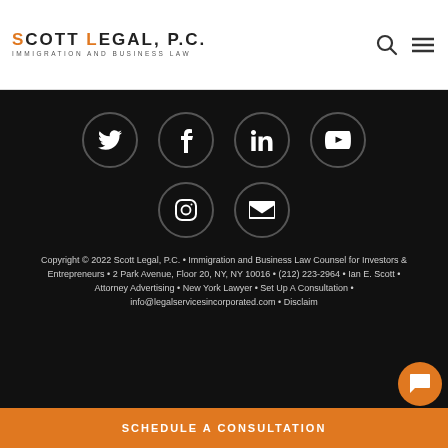[Figure (logo): Scott Legal, P.C. Immigration and Business Law logo with orange S and L letters]
[Figure (other): Search and menu icons in header]
[Figure (other): Social media icons: Twitter, Facebook, LinkedIn, YouTube, Instagram, Email on black background]
Copyright © 2022 Scott Legal, P.C. • Immigration and Business Law Counsel for Investors & Entrepreneurs • 2 Park Avenue, Floor 20, NY, NY 10016 • (212) 223-2964 • Ian E. Scott • Attorney Advertising • New York Lawyer • Set Up A Consultation • info@legalservicesincorporated.com • Disclaim
SCHEDULE A CONSULTATION